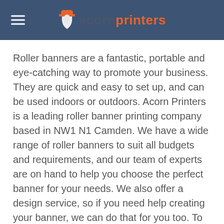acornprinters
Roller banners are a fantastic, portable and eye-catching way to promote your business. They are quick and easy to set up, and can be used indoors or outdoors. Acorn Printers is a leading roller banner printing company based in NW1 N1 Camden. We have a wide range of roller banners to suit all budgets and requirements, and our team of experts are on hand to help you choose the perfect banner for your needs. We also offer a design service, so if you need help creating your banner, we can do that for you too. To find out more about our roller banner printing services, please call us on 01702 602114 or